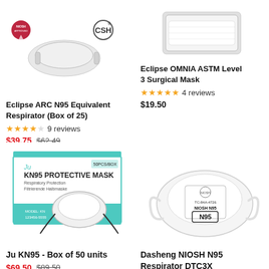[Figure (photo): Eclipse ARC N95 Equivalent Respirator mask with certification logos]
Eclipse ARC N95 Equivalent Respirator (Box of 25)
★★★★☆ 9 reviews
$39.75  $62.49  SALE
[Figure (photo): Eclipse OMNIA ASTM Level 3 Surgical Mask product image]
Eclipse OMNIA ASTM Level 3 Surgical Mask
★★★★★ 4 reviews
$19.50
[Figure (photo): Ju KN95 Protective Mask box of 50 units, teal and white packaging]
Ju KN95 - Box of 50 units
$69.50  $89.50  SALE
[Figure (photo): Dasheng NIOSH N95 Respirator DTC3X, white mask with ear straps]
Dasheng NIOSH N95 Respirator DTC3X
$79.99